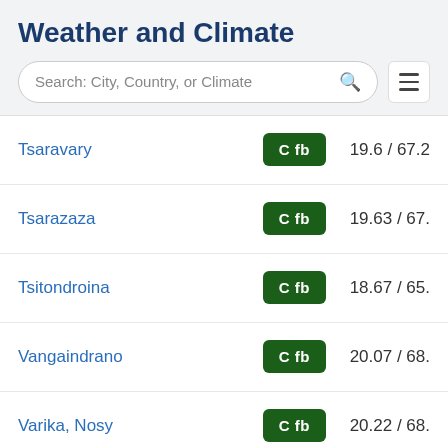Weather and Climate
Search: City, Country, or Climate
| City | Climate | Temperature |
| --- | --- | --- |
| Tsaravary | Cfb | 19.6 / 67.2 |
| Tsarazaza | Cfb | 19.63 / 67. |
| Tsitondroina | Cfb | 18.67 / 65. |
| Vangaindrano | Cfb | 20.07 / 68. |
| Varika, Nosy | Cfb | 20.22 / 68. |
| Vinanitelo | Cfb | 19.25 |